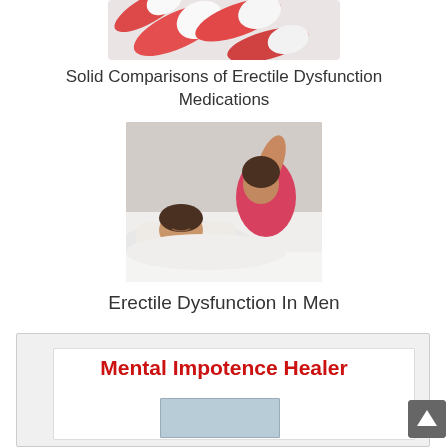[Figure (photo): Photo of orange and white medication capsules/pills]
Solid Comparisons of Erectile Dysfunction Medications
[Figure (photo): Photo of a man sleeping in bed next to a woman in a pink top who is awake]
Erectile Dysfunction In Men
Mental Impotence Healer